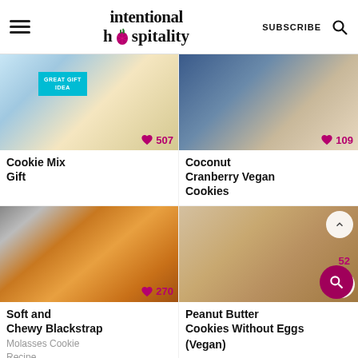intentional hospitality – SUBSCRIBE
[Figure (photo): Cookie Mix Gift – a jar with ingredients and 'GREAT GIFT IDEA' badge, 507 likes]
Cookie Mix Gift
[Figure (photo): Coconut Cranberry Vegan Cookies – a close-up of coconut-covered cookies with cranberries on blue background, 109 likes]
Coconut Cranberry Vegan Cookies
[Figure (photo): Soft and Chewy Blackstrap Molasses Cookie Recipe – stacked golden-brown cookies with a white bowl, 270 likes]
Soft and Chewy Blackstrap Chewy Blackstrap
Molasses Cookie Recipe
[Figure (photo): Peanut Butter Cookies Without Eggs (Vegan) – peanut butter cookies on a gray plate, 52 likes]
Peanut Butter Cookies Without Eggs (Vegan)